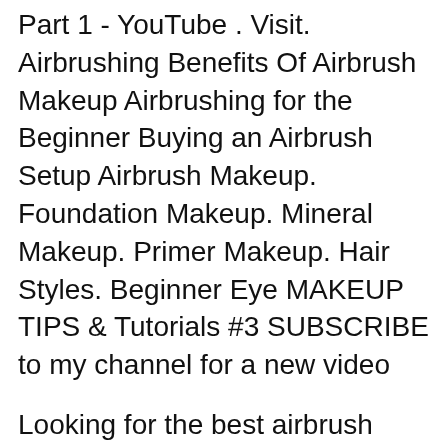Part 1 - YouTube . Visit. Airbrushing Benefits Of Airbrush Makeup Airbrushing for the Beginner Buying an Airbrush Setup Airbrush Makeup. Foundation Makeup. Mineral Makeup. Primer Makeup. Hair Styles. Beginner Eye MAKEUP TIPS & Tutorials #3 SUBSCRIBE to my channel for a new video
Looking for the best airbrush makeup system for Christmas? You don't need to go any further than this article to find the best kits for your loved one. Our Dinair Airbrush Makeup Kit review takes a closer look at one of the best products around for beginners. Dinair Airbrush Makeup Tutorial Video.